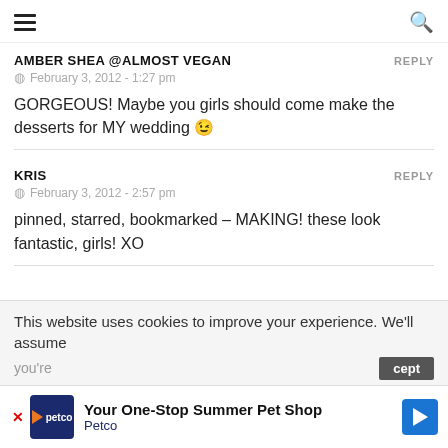hamburger menu | search icon
AMBER SHEA @ALMOST VEGAN
February 3, 2012 - 1:27 pm
GORGEOUS! Maybe you girls should come make the desserts for MY wedding 😉
KRIS
February 3, 2012 - 2:57 pm
pinned, starred, bookmarked – MAKING! these look fantastic, girls! XO
This website uses cookies to improve your experience. We'll assume you're...  [Accept]
[Figure (screenshot): Petco advertisement banner: 'Your One-Stop Summer Pet Shop' with Petco logo and blue directional arrow icon]